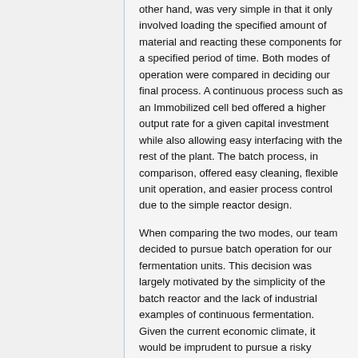other hand, was very simple in that it only involved loading the specified amount of material and reacting these components for a specified period of time. Both modes of operation were compared in deciding our final process. A continuous process such as an Immobilized cell bed offered a higher output rate for a given capital investment while also allowing easy interfacing with the rest of the plant. The batch process, in comparison, offered easy cleaning, flexible unit operation, and easier process control due to the simple reactor design.
When comparing the two modes, our team decided to pursue batch operation for our fermentation units. This decision was largely motivated by the simplicity of the batch reactor and the lack of industrial examples of continuous fermentation. Given the current economic climate, it would be imprudent to pursue a risky venture such as continuous fermentation without significant experience to draw upon so it was decided that batch